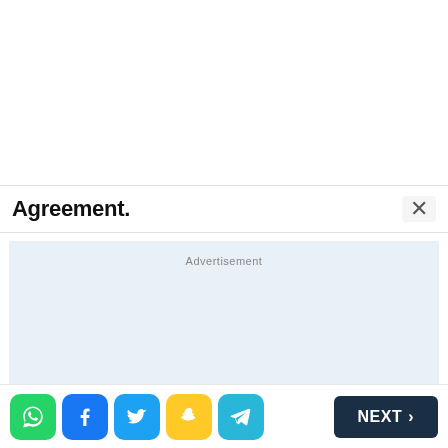Agreement.
[Figure (other): Advertisement placeholder box with light blue background]
[Figure (infographic): Bottom navigation bar with WhatsApp, Facebook, Twitter, Snapchat, Telegram social share icons and a NEXT button]